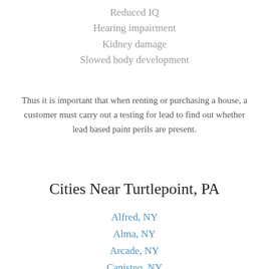Reduced IQ
Hearing impairment
Kidney damage
Slowed body development
Thus it is important that when renting or purchasing a house, a customer must carry out a testing for lead to find out whether lead based paint perils are present.
Cities Near Turtlepoint, PA
Alfred, NY
Alma, NY
Arcade, NY
Canisteo, NY